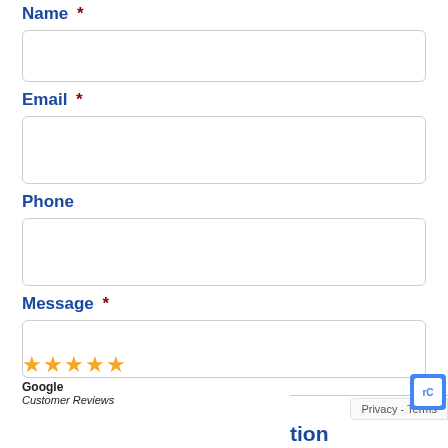Name *
[Figure (other): Empty text input field for Name]
Email *
[Figure (other): Empty text input field for Email]
Phone
[Figure (other): Empty text input field for Phone]
Message *
[Figure (other): Empty text area for Message]
[Figure (other): Google Customer Reviews widget with 5 gold stars, text: Google Customer Reviews]
Privacy - Terms
tion